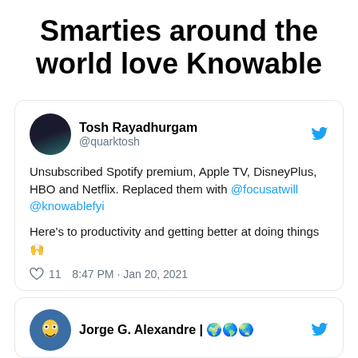Smarties around the world love Knowable
[Figure (screenshot): Tweet by Tosh Rayadhurgam (@quarktosh): Unsubscribed Spotify premium, Apple TV, DisneyPlus, HBO and Netflix. Replaced them with @focusatwill @knowablefyi. Here's to productivity and getting better at doing things 🙌. 11 likes, 8:47 PM · Jan 20, 2021]
[Figure (screenshot): Tweet by Jorge G. Alexandre (partial, cut off)]